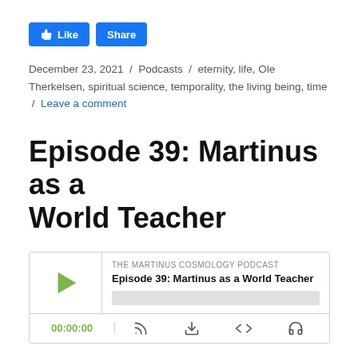[Figure (other): Facebook Like and Share buttons]
December 23, 2021 / Podcasts / eternity, life, Ole Therkelsen, spiritual science, temporality, the living being, time / Leave a comment
Episode 39: Martinus as a World Teacher
[Figure (other): Podcast audio player for 'The Martinus Cosmology Podcast - Episode 39: Martinus as a World Teacher' showing play button, episode title, progress bar, timestamp 00:00:00, and controls for subscribe, download, embed, and outro.]